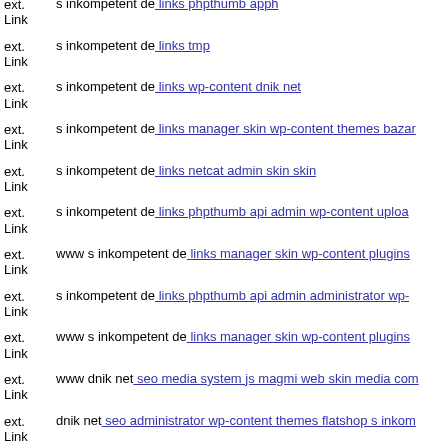ext. Link s inkompetent de: links phpthumb apph
ext. Link s inkompetent de: links tmp
ext. Link s inkompetent de: links wp-content dnik net
ext. Link s inkompetent de: links manager skin wp-content themes bazar
ext. Link s inkompetent de: links netcat admin skin skin
ext. Link s inkompetent de: links phpthumb api admin wp-content upload
ext. Link www s inkompetent de: links manager skin wp-content plugins
ext. Link s inkompetent de: links phpthumb api admin administrator wp-
ext. Link www s inkompetent de: links manager skin wp-content plugins
ext. Link www dnik net: seo media system js magmi web skin media com
ext. Link dnik net: seo administrator wp-content themes flatshop s inkom
ext. Link www dnik net: seo wp-content themes twentyfourteen downloa